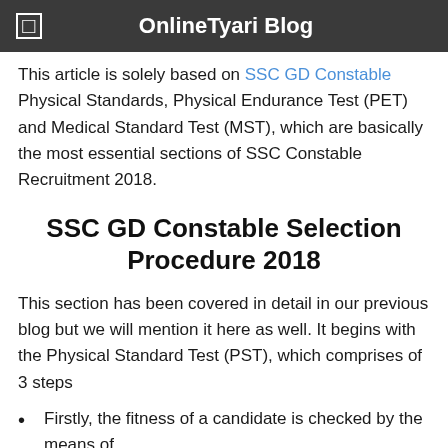OnlineTyari Blog
This article is solely based on SSC GD Constable Physical Standards, Physical Endurance Test (PET) and Medical Standard Test (MST), which are basically the most essential sections of SSC Constable Recruitment 2018.
SSC GD Constable Selection Procedure 2018
This section has been covered in detail in our previous blog but we will mention it here as well. It begins with the Physical Standard Test (PST), which comprises of 3 steps
Firstly, the fitness of a candidate is checked by the means of